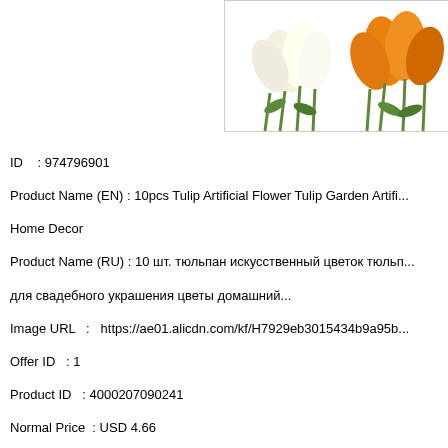[Figure (photo): Product photo showing white and yellow tulip artificial flowers against a white background]
ID    : 974796901
Product Name (EN) : 10pcs Tulip Artificial Flower Tulip Garden Artifi... Home Decor
Product Name (RU) : 10 шт. тюльпан искусственный цветок тюльп... для свадебного украшения цветы домашний...
Image URL   :   https://ae01.alicdn.com/kf/H7929eb3015434b9a95b...
Offer ID   : 1
Product ID   : 4000207090241
Normal Price  : USD 4.66
Sale Price   : USD 3.5
Saving    : Normal Price - Sale Price (USD 1.16)
Discount   : 24.89 %
Valid Time   : 4452198 seconds
Number of Sales  : 0
Exception Type  : 1
Product Publish  : Since Wed, 01 Jan 2020 23:06:26 +0000
Discount Expired  : Sat, 22 Feb 2020 11:49:44 +0000
Product Score  : 2
Product Rank  : Number 4 for Keyword Tulip Artificial Flower, Tulip A... Flowers